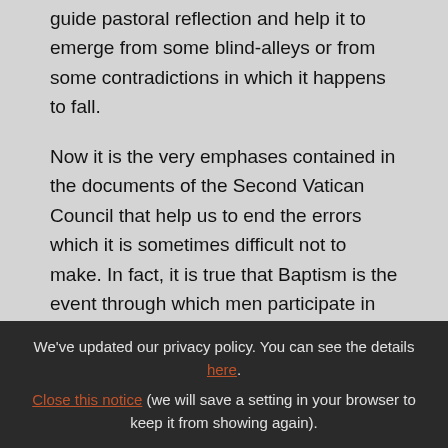guide pastoral reflection and help it to emerge from some blind-alleys or from some contradictions in which it happens to fall.
Now it is the very emphases contained in the documents of the Second Vatican Council that help us to end the errors which it is sometimes difficult not to make. In fact, it is true that Baptism is the event through which men participate in Christ's paschal mystery (SC 6; LG 7; UR 22; AG 14) are incorporated into the
We've updated our privacy policy. You can see the details here. Close this notice (we will save a setting in your browser to keep it from showing again).